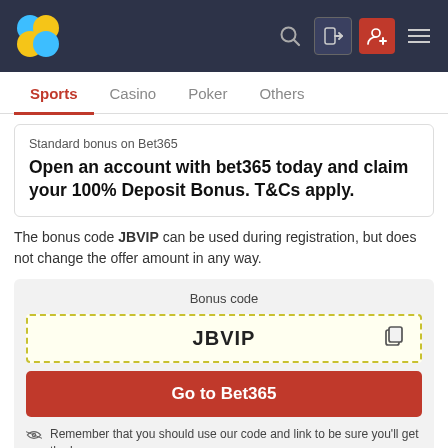Bet365 bonus code site header with logo, search, login, signup, and menu icons
Sports | Casino | Poker | Others
Standard bonus on Bet365
Open an account with bet365 today and claim your 100% Deposit Bonus. T&Cs apply.
The bonus code JBVIP can be used during registration, but does not change the offer amount in any way.
Bonus code
JBVIP
Go to Bet365
Remember that you should use our code and link to be sure you'll get the bonus.